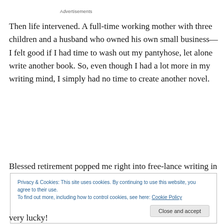Advertisements
Then life intervened. A full-time working mother with three children and a husband who owned his own small business—I felt good if I had time to wash out my pantyhose, let alone write another book. So, even though I had a lot more in my writing mind, I simply had no time to create another novel.
Blessed retirement popped me right into free-lance writing in
Privacy & Cookies: This site uses cookies. By continuing to use this website, you agree to their use.
To find out more, including how to control cookies, see here: Cookie Policy
very lucky!